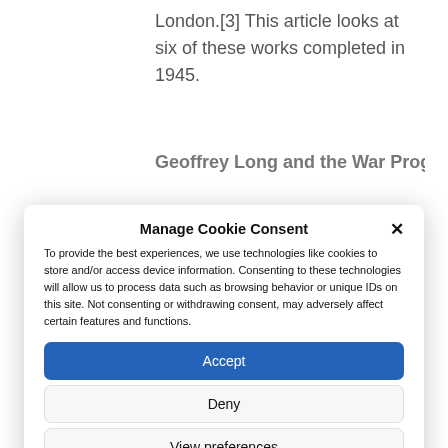London.[3] This article looks at six of these works completed in 1945.
Geoffrey Long and the War Programme
Manage Cookie Consent
To provide the best experiences, we use technologies like cookies to store and/or access device information. Consenting to these technologies will allow us to process data such as browsing behavior or unique IDs on this site. Not consenting or withdrawing consent, may adversely affect certain features and functions.
Accept
Deny
View preferences
Cookie Policy  Privacy Policy